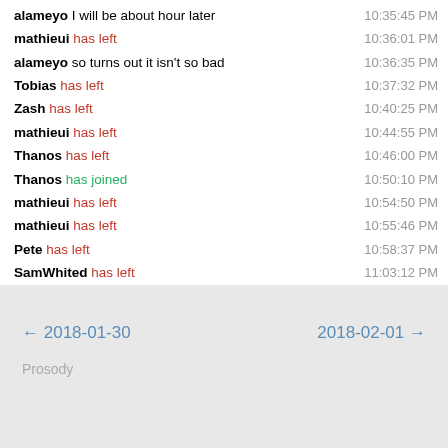alameyo I will be about hour later  10:35:45 PM
mathieui has left  10:36:01 PM
alameyo so turns out it isn't so bad  10:36:35 PM
Tobias has left  10:37:32 PM
Zash has left  10:40:25 PM
mathieui has left  10:44:55 PM
Thanos has left  10:46:00 PM
Thanos has joined  10:50:10 PM
mathieui has left  10:54:50 PM
mathieui has left  10:55:46 PM
Pete has left  10:58:37 PM
SamWhited has left  11:03:12 PM
mathieui has left  11:23:22 PM
jc has left  11:59:36 PM
jc has joined  11:59:37 PM
← 2018-01-30    2018-02-01 →    Prosody